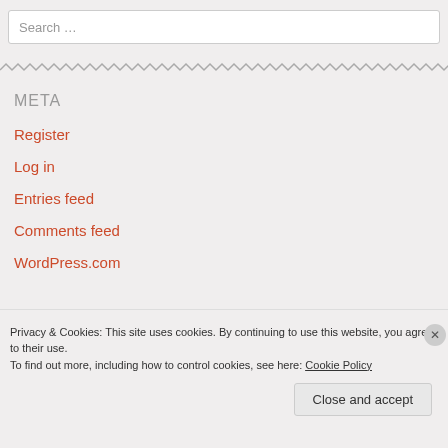Search …
META
Register
Log in
Entries feed
Comments feed
WordPress.com
Privacy & Cookies: This site uses cookies. By continuing to use this website, you agree to their use. To find out more, including how to control cookies, see here: Cookie Policy
Close and accept